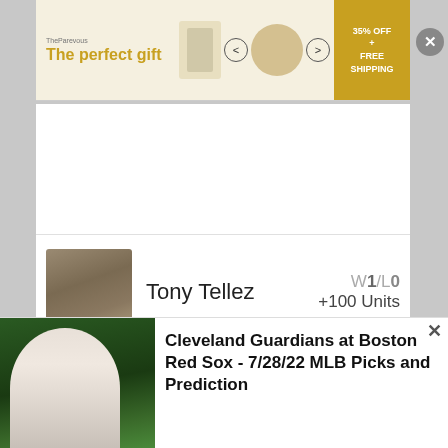[Figure (other): Advertisement banner: 'The perfect gift' with product imagery and '35% OFF + FREE SHIPPING' promo badge]
[Figure (photo): Headshot of Tony Tellez, male in business attire]
Tony Tellez
W1/L0 +100 Units
[Figure (photo): Headshot of Ray Monohan, male with glasses]
Ray Monohan
W2/L1 +90 Units
[Figure (photo): Baseball player in Cleveland Guardians uniform pitching]
Cleveland Guardians at Boston Red Sox - 7/28/22 MLB Picks and Prediction